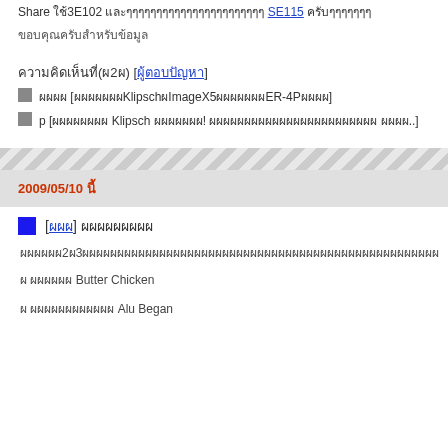Share ใช้3E102 และ SE115 ครับ
ขอบคุณครับสำหรับข้อมูล
ความคิดเห็นที่(ผ2ผ) [ผู้ตอบปัญหา]
ผผผผ [ผผผผผผผKlipschผImageX5ผผผผผผผER-4Pผผผผ]
p [ผผผผผผผผ Klipsch ผผผผผผผ! ผผผผผผผผผผผผผผผผผผผผผผผผ ผผผผ..]
2009/05/10 นี้
ผผผผผผ2ผ3ผผผผผผผผผผผผผผผผผผผผผผผผผผผผผผผผผผผผผผผผผผผผผผผผผผผ
ผ ผผผผผผ Butter Chicken
ผ ผผผผผผผผผผผผ Alu Began